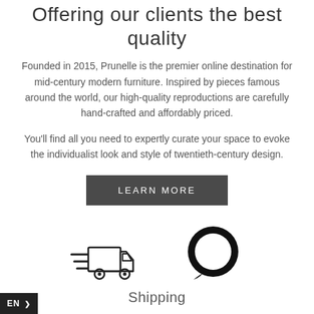Offering our clients the best quality
Founded in 2015, Prunelle is the premier online destination for mid-century modern furniture. Inspired by pieces famous around the world, our high-quality reproductions are carefully hand-crafted and affordably priced.
You'll find all you need to expertly curate your space to evoke the individualist look and style of twentieth-century design.
[Figure (other): Dark button with text LEARN MORE in uppercase white letters]
[Figure (illustration): Delivery truck icon with speed lines indicating fast shipping]
[Figure (illustration): Chat bubble icon — circular dark speech bubble]
Shipping
EN